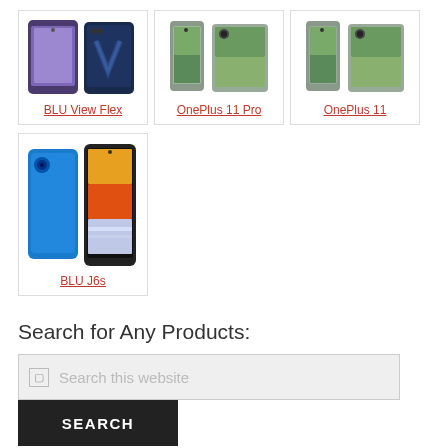[Figure (photo): BLU View Flex smartphone product image showing front and back views]
BLU View Flex
[Figure (photo): OnePlus 11 Pro smartphone product image showing two views]
OnePlus 11 Pro
[Figure (photo): OnePlus 11 smartphone product image showing two views]
OnePlus 11
[Figure (photo): BLU J6s smartphone product image showing front and back views with blue and colorful design]
BLU J6s
Search for Any Products:
Search this website
SEARCH